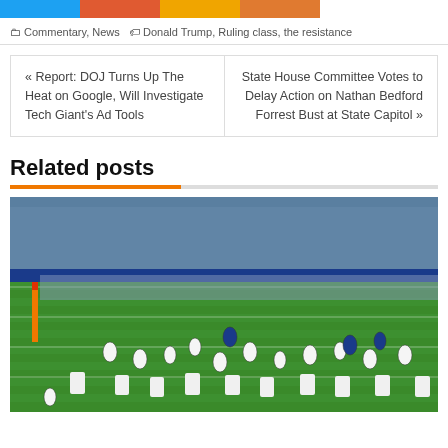[Figure (other): Social media share buttons: Twitter (blue), Google+ (orange-red), Share (yellow), Share (orange)]
Commentary, News  |  Donald Trump, Ruling class, the resistance
« Report: DOJ Turns Up The Heat on Google, Will Investigate Tech Giant's Ad Tools
State House Committee Votes to Delay Action on Nathan Bedford Forrest Bust at State Capitol »
Related posts
[Figure (photo): NFL football game photo showing players lined up on field, crowd and team members standing along sideline, green grass field visible, players in white and blue uniforms (Indianapolis Colts).]